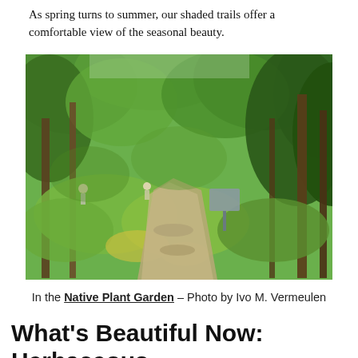As spring turns to summer, our shaded trails offer a comfortable view of the seasonal beauty.
[Figure (photo): A shaded garden trail winding through lush green trees and foliage, with a gravel path, an informational sign board, and people visible in the background. Native Plant Garden, photo by Ivo M. Vermeulen.]
In the Native Plant Garden – Photo by Ivo M. Vermeulen
What's Beautiful Now: Herbaceous